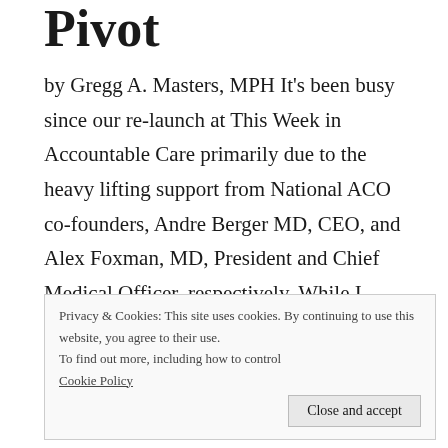Pivot
by Gregg A. Masters, MPH It's been busy since our re-launch at This Week in Accountable Care primarily due to the heavy lifting support from National ACO co-founders, Andre Berger MD, CEO, and Alex Foxman, MD, President and Chief Medical Officer, respectively. While I moderate the series, Drs.
Privacy & Cookies: This site uses cookies. By continuing to use this website, you agree to their use.
To find out more, including how to control
Cookie Policy
Close and accept